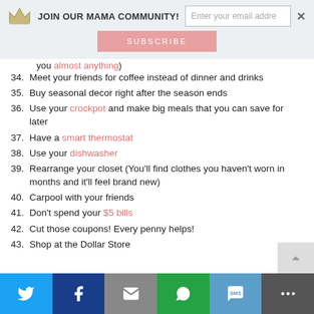JOIN OUR MAMA COMMUNITY! [email input] [subscribe button]
you almost anything)
34. Meet your friends for coffee instead of dinner and drinks
35. Buy seasonal decor right after the season ends
36. Use your crockpot and make big meals that you can save for later
37. Have a smart thermostat
38. Use your dishwasher
39. Rearrange your closet (You'll find clothes you haven't worn in months and it'll feel brand new)
40. Carpool with your friends
41. Don't spend your $5 bills
42. Cut those coupons! Every penny helps!
43. Shop at the Dollar Store
Twitter | Facebook | Email | WhatsApp | SMS | More